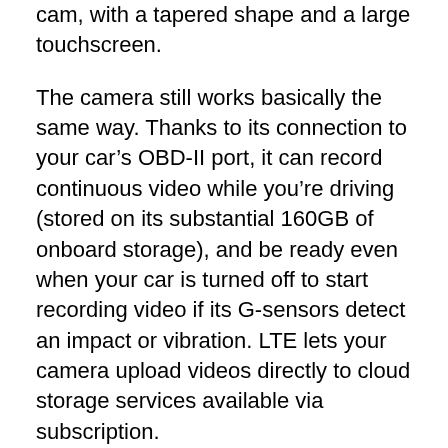cam, with a tapered shape and a large touchscreen.
The camera still works basically the same way. Thanks to its connection to your car's OBD-II port, it can record continuous video while you're driving (stored on its substantial 160GB of onboard storage), and be ready even when your car is turned off to start recording video if its G-sensors detect an impact or vibration. LTE lets your camera upload videos directly to cloud storage services available via subscription.
The existing “OK presto” command to start a video recording has been expanded in an interesting way. If you say “OK presto, I’m being pulled over”—as in, by police officers—the camera will start recording and uploading directly to the cloud. A report that the modification was an attable